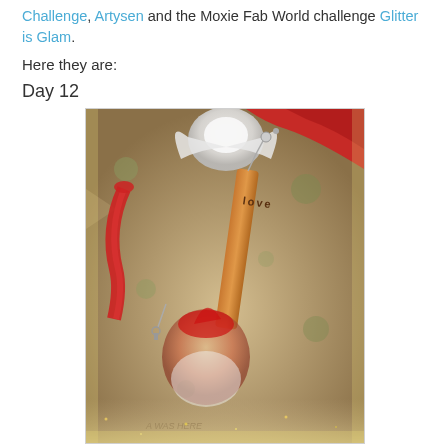Challenge, Artysen and the Moxie Fab World challenge Glitter is Glam.
Here they are:
Day 12
[Figure (photo): A decorated craft gift tag with vintage Christmas imagery (Santa Claus, holly), glittery edges, red ribbon, a copper metal stamped tag reading 'love', a key charm, and a porcelain angel or dove figure at the top.]